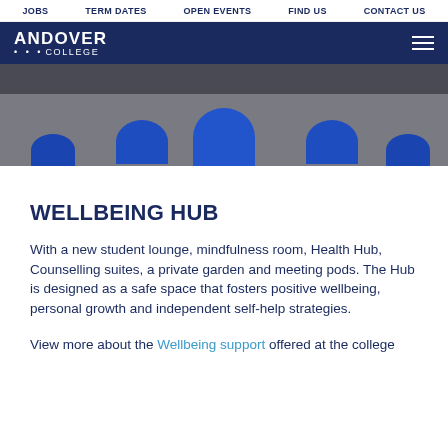JOBS  TERM DATES  OPEN EVENTS  FIND US  CONTACT US
[Figure (logo): Andover College logo on dark navy background with hamburger menu icon]
[Figure (photo): Overhead photo of blue rounded chairs on grey carpet]
WELLBEING HUB
With a new student lounge, mindfulness room, Health Hub, Counselling suites, a private garden and meeting pods. The Hub is designed as a safe space that fosters positive wellbeing, personal growth and independent self-help strategies.
View more about the Wellbeing support offered at the college